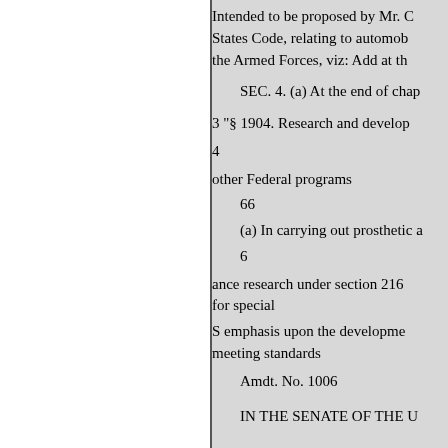Intended to be proposed by Mr. C
States Code, relating to automob
the Armed Forces, viz: Add at th
SEC. 4. (a) At the end of chap
3 "§ 1904. Research and develop
4
other Federal programs
66
(a) In carrying out prosthetic a
6
ance research under section 216
for special
S emphasis upon the developme
meeting standards
Amdt. No. 1006
IN THE SENATE OF THE U
Referred to the Committee on Ve